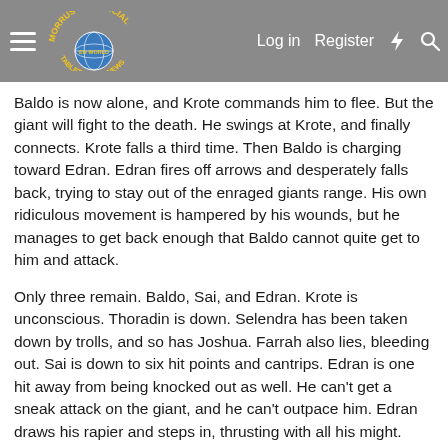Morrus' Unofficial Tabletop RPG News | Log in | Register
Baldo is now alone, and Krote commands him to flee. But the giant will fight to the death. He swings at Krote, and finally connects. Krote falls a third time. Then Baldo is charging toward Edran. Edran fires off arrows and desperately falls back, trying to stay out of the enraged giants range. His own ridiculous movement is hampered by his wounds, but he manages to get back enough that Baldo cannot quite get to him and attack.
Only three remain. Baldo, Sai, and Edran. Krote is unconscious. Thoradin is down. Selendra has been taken down by trolls, and so has Joshua. Farrah also lies, bleeding out. Sai is down to six hit points and cantrips. Edran is one hit away from being knocked out as well. He can't get a sneak attack on the giant, and he can't outpace him. Edran draws his rapier and steps in, thrusting with all his might.